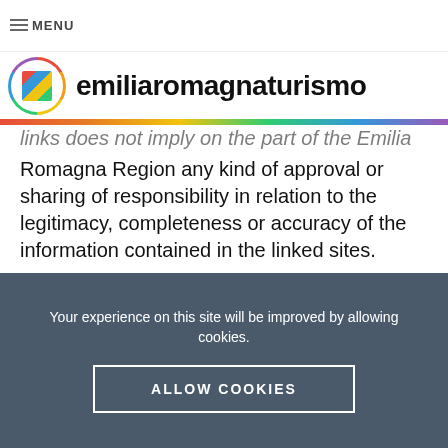menubars MENU
[Figure (logo): emiliaromagnaturismo logo with circular rainbow border and multicolor square icon, followed by bold text 'emiliaromagnaturismo']
links does not imply on the part of the Emilia Romagna Region any kind of approval or sharing of responsibility in relation to the legitimacy, completeness or accuracy of the information contained in the linked sites.
Download
The information contained herein also applies to the reproduction of the downloadable...
Your experience on this site will be improved by allowing cookies.
ALLOW COOKIES